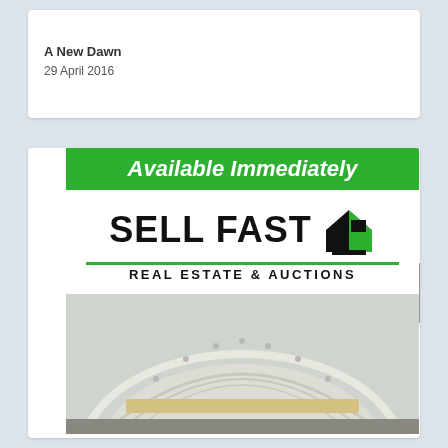A New Dawn
29 April 2016
[Figure (illustration): Sell Fast Real Estate & Auctions advertisement banner with green header reading 'Available Immediately', company logo with house icon, tagline 'REAL ESTATE & AUCTIONS', and a building facade photograph below.]